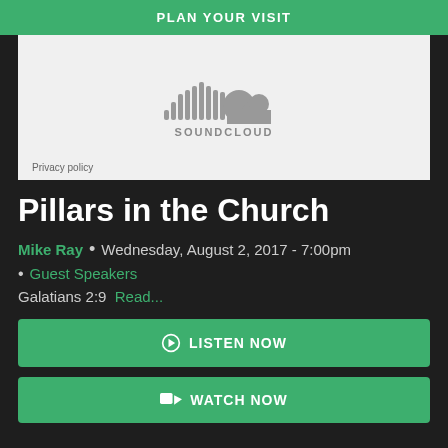PLAN YOUR VISIT
[Figure (logo): SoundCloud logo with sound wave bars and cloud icon, with SOUNDCLOUD text below. Gray on light gray background. Includes 'Privacy policy' text at bottom left.]
Pillars in the Church
Mike Ray • Wednesday, August 2, 2017 - 7:00pm
• Guest Speakers
Galatians 2:9  Read...
LISTEN NOW
WATCH NOW